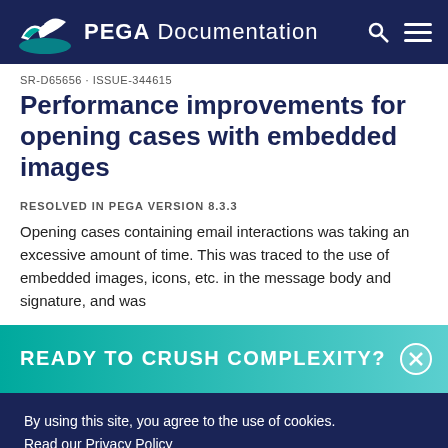PEGA Documentation
SR-D65656 · ISSUE-344615
Performance improvements for opening cases with embedded images
RESOLVED IN PEGA VERSION 8.3.3
Opening cases containing email interactions was taking an excessive amount of time. This was traced to the use of embedded images, icons, etc. in the message body and signature, and was
READY TO CRUSH COMPLEXITY?
By using this site, you agree to the use of cookies. Read our Privacy Policy
Accept and continue
About cookies